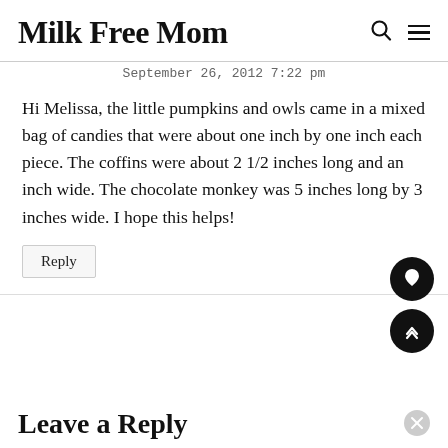Milk Free Mom
September 26, 2012 7:22 pm
Hi Melissa, the little pumpkins and owls came in a mixed bag of candies that were about one inch by one inch each piece. The coffins were about 2 1/2 inches long and an inch wide. The chocolate monkey was 5 inches long by 3 inches wide. I hope this helps!
Reply
Leave a Reply